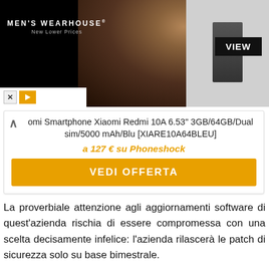[Figure (screenshot): Men's Wearhouse advertisement banner showing a couple in formal wear and a man in a suit, with a VIEW button]
omi Smartphone Xiaomi Redmi 10A 6.53" 3GB/64GB/Dual sim/5000 mAh/Blu [XIARE10A64BLEU]
a 127 € su Phoneshock
VEDI OFFERTA
La proverbiale attenzione agli aggiornamenti software di quest'azienda rischia di essere compromessa con una scelta decisamente infelice: l'azienda rilascerà le patch di sicurezza solo su base bimestrale.
Finora però questo è un problema che è rimasto solo sulla carta, dato che gli aggiornamenti non sono affatto